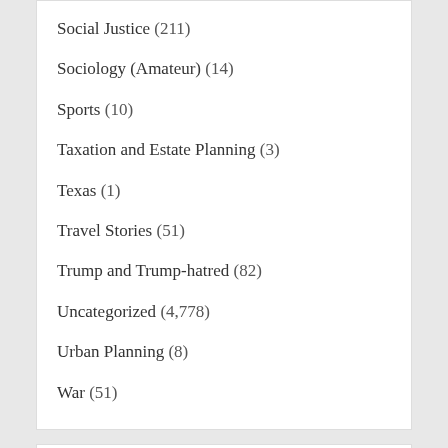Social Justice (211)
Sociology (Amateur) (14)
Sports (10)
Taxation and Estate Planning (3)
Texas (1)
Travel Stories (51)
Trump and Trump-hatred (82)
Uncategorized (4,778)
Urban Planning (8)
War (51)
Archives